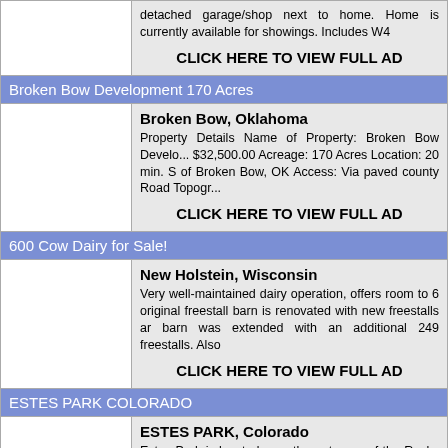detached garage/shop next to home. Home is currently available for showings. Includes W4
CLICK HERE TO VIEW FULL AD
Broken Bow Development 170 Acres
Broken Bow, Oklahoma
Property Details Name of Property: Broken Bow Development $32,500.00 Acreage: 170 Acres Location: 20 min. S of Broken Bow, OK Access: Via paved county Road Topography
CLICK HERE TO VIEW FULL AD
600 Cow Dairy for Sale!
New Holstein, Wisconsin
Very well-maintained dairy operation, offers room to 6 original freestall barn is renovated with new freestalls and barn was extended with an additional 249 freestalls. Also
CLICK HERE TO VIEW FULL AD
ESTES PARK COLORADO
ESTES PARK, Colorado
Estes Park is located near the entrance of the Rocky Mountains of restaurants, quaint stores and shops, golf course Mountains and Estes Lake. Estes Park is near the entrance